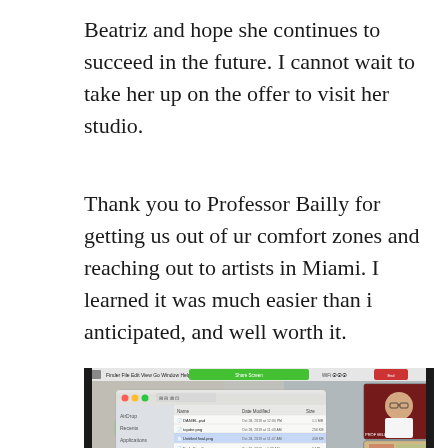Beatriz and hope she continues to succeed in the future. I cannot wait to take her up on the offer to visit her studio.
Thank you to Professor Bailly for getting us out of ur comfort zones and reaching out to artists in Miami. I learned it was much easier than i anticipated, and well worth it.
[Figure (screenshot): Screenshot of a Mac desktop showing a Finder window with file listings and a video call interface with two participant thumbnails visible in the upper right. The lower portion shows black and white intricate artwork/illustration.]